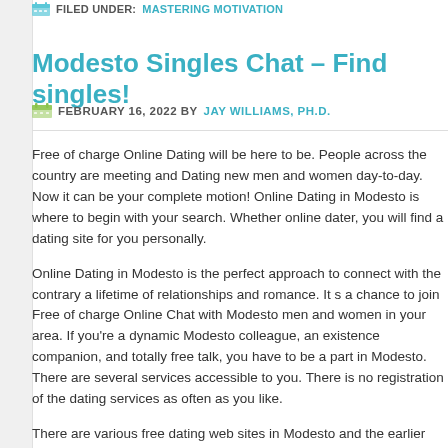FILED UNDER: MASTERING MOTIVATION
Modesto Singles Chat – Find singles!
FEBRUARY 16, 2022 BY JAY WILLIAMS, PH.D.
Free of charge Online Dating will be here to be. People across the country are meeting and Dating new men and women day-to-day. Now it can be your complete motion! Online Dating in Modesto is where to begin with your search. Whether online dater, you will find a dating site for you personally.
Online Dating in Modesto is the perfect approach to connect with the contrary a lifetime of relationships and romance. It s a chance to join Free of charge Chat with Modesto men and women in your area. If you're a dynamic Modesto colleague, an existence companion, and totally free talk, you have to be a pa in Modesto. There are several services accessible to you. There is no registra of the dating services as often as you like.
There are various free dating web sites in Modesto and the earlier mentioned. There are many Modesto dating web sites, which give attention to conference of dating software. Which means that there is no need to enroll at one of many https://www.instanthookups.org/chat-rooms-in-modesto-california/ Modesto phone programs. It is possible to browse through several dating websites as departing your home. The free dating applications are simple to use and those